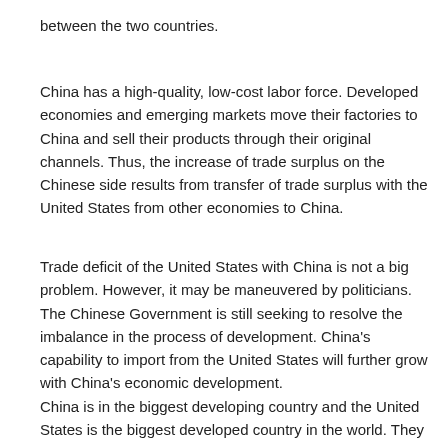between the two countries.
China has a high-quality, low-cost labor force. Developed economies and emerging markets move their factories to China and sell their products through their original channels. Thus, the increase of trade surplus on the Chinese side results from transfer of trade surplus with the United States from other economies to China.
Trade deficit of the United States with China is not a big problem. However, it may be maneuvered by politicians. The Chinese Government is still seeking to resolve the imbalance in the process of development. China's capability to import from the United States will further grow with China's economic development.
China is in the biggest developing country and the United States is the biggest developed country in the world. They both should